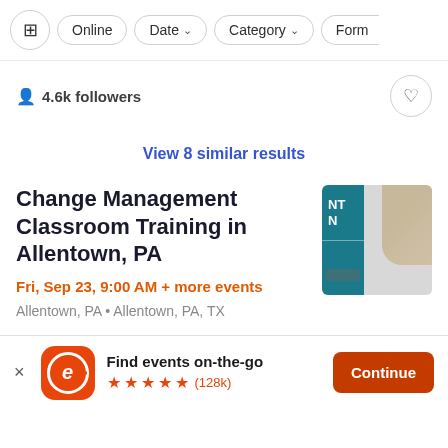[Figure (screenshot): Filter/navigation bar with filter icon, Online, Date, Category, Form buttons]
4.6k followers
View 8 similar results
Change Management Classroom Training in Allentown, PA
Fri, Sep 23, 9:00 AM + more events
Allentown, PA • Allentown, PA, TX
[Figure (photo): Event thumbnail showing teal panel with text NT on left and a person's arm/sleeve on right against grey background]
Find events on-the-go ★★★★★ (128k)
Continue